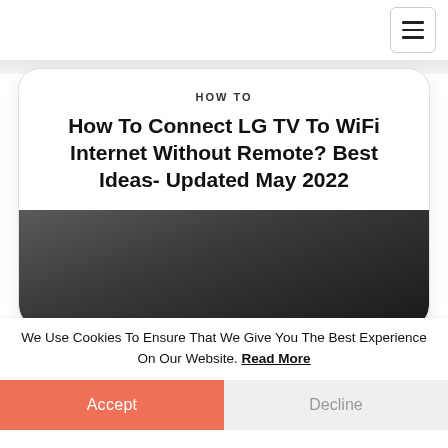≡ (hamburger menu icon)
HOW TO
How To Connect LG TV To WiFi Internet Without Remote? Best Ideas- Updated May 2022
[Figure (photo): Dark background photo of a TV mounted on wall, partially visible at bottom of card]
We Use Cookies To Ensure That We Give You The Best Experience On Our Website. Read More
Accept
Decline